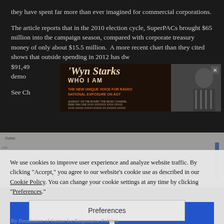they have spent far more than ever imagined for commercial corporations.
The article reports that in the 2010 election cycle, SuperPACs brought $65 million into the campaign season, compared with corporate treasury money of only about $15.5 million.  A more recent chart than they cited shows that outside spending in 2012 has dw[...] $91,49[...] demo[...]
See Ch[...]
[Figure (other): Advertisement overlay for Wyn Starks 'Who I Am' - The new unique voice for radio! National exposure on AGT]
[Figure (bar-chart): Partially visible bar chart showing Outside spending from 1990 to 2012, by Center for Responsive Politics]
We use cookies to improve user experience and analyze website traffic. By clicking "Accept," you agree to our website's cookie use as described in our Cookie Policy. You can change your cookie settings at any time by clicking "Preferences."
Decline
Accept
Preferences
By Permission of Center for Responsive Politics.